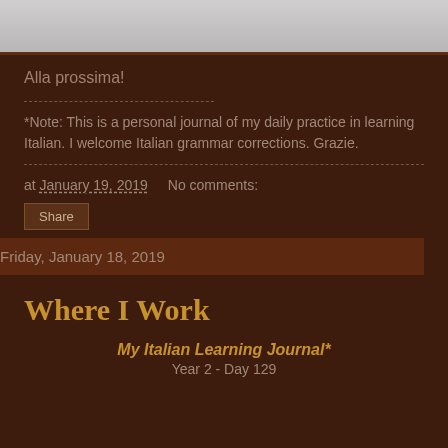[Figure (other): Gray image strip at top of page]
Alla prossima!
*Note: This is a personal journal of my daily practice in learning Italian. I welcome Italian grammar corrections. Grazie.
at January 19, 2019   No comments:
Share
Friday, January 18, 2019
Where I Work
My Italian Learning Journal*
Year 2 - Day 129